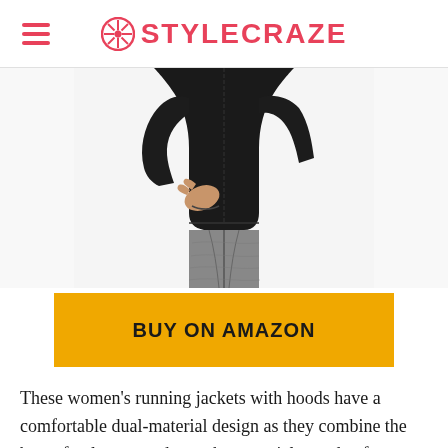STYLECRAZE
[Figure (photo): Woman wearing a black zip-up running jacket and gray patterned leggings, shown from the torso down, with hand in pocket]
BUY ON AMAZON
These women's running jackets with hoods have a comfortable dual-material design as they combine the best of polyester and stretchy material spandex for an enhanced range of motion. The thumbhole